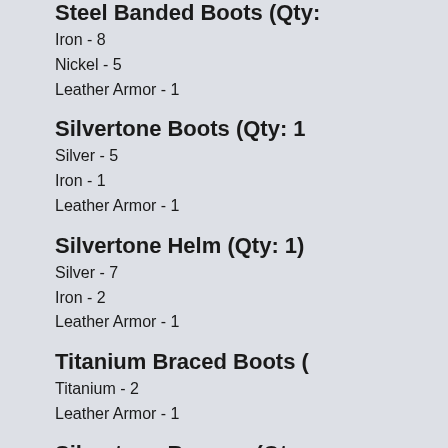Steel Banded Boots (Qty:
Iron - 8
Nickel - 5
Leather Armor - 1
Silvertone Boots (Qty: 1
Silver - 5
Iron - 1
Leather Armor - 1
Silvertone Helm (Qty: 1)
Silver - 7
Iron - 2
Leather Armor - 1
Titanium Braced Boots (
Titanium - 2
Leather Armor - 1
Silvertone Bracers (Qty:
Silver - 4
Leather Armor - 1
Silvertone Gauntlets (Q